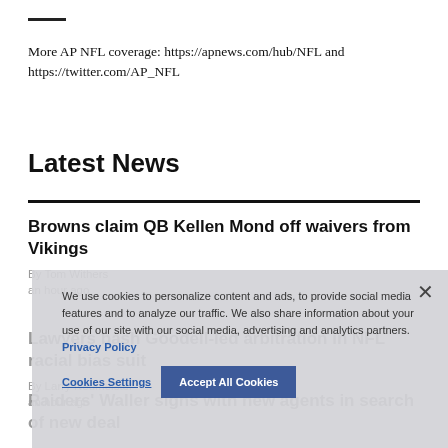More AP NFL coverage: https://apnews.com/hub/NFL and https://twitter.com/AP_NFL
Latest News
Browns claim QB Kellen Mond off waivers from Vikings
By Tom Withers
an hour ago
Lawyers bash Goodell-led arbitration in NFL racial bias suit
By Larry Neumeister
an hour ago
We use cookies to personalize content and ads, to provide social media features and to analyze our traffic. We also share information about your use of our site with our social media, advertising and analytics partners. Privacy Policy
Raiders' Waller signs with new agents in search of new deal